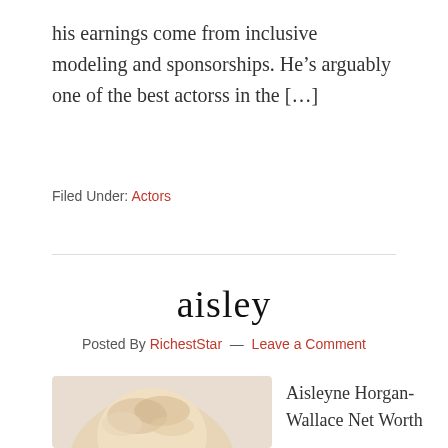his earnings come from inclusive modeling and sponsorships. He’s arguably one of the best actorss in the […]
Filed Under: Actors
aisley
Posted By RichestStar — Leave a Comment
[Figure (photo): Partial head/portrait of a blonde person]
Aisleyne Horgan-Wallace Net Worth